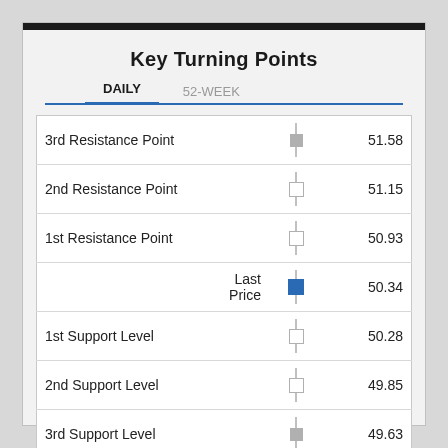Key Turning Points
|  |  |  | Value |
| --- | --- | --- | --- |
| 3rd Resistance Point |  |  | 51.58 |
| 2nd Resistance Point |  |  | 51.15 |
| 1st Resistance Point |  |  | 50.93 |
|  | Last Price |  | 50.34 |
| 1st Support Level |  |  | 50.28 |
| 2nd Support Level |  |  | 49.85 |
| 3rd Support Level |  |  | 49.63 |